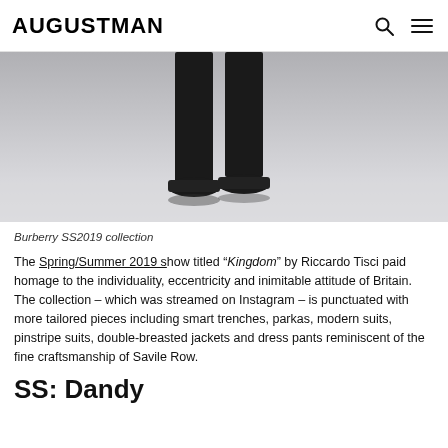AUGUSTMAN
[Figure (photo): Close-up photo of feet and lower legs of a model walking on a reflective surface, wearing dark pants and dark sneakers, from Burberry SS2019 collection.]
Burberry SS2019 collection
The Spring/Summer 2019 show titled "Kingdom" by Riccardo Tisci paid homage to the individuality, eccentricity and inimitable attitude of Britain. The collection – which was streamed on Instagram – is punctuated with more tailored pieces including smart trenches, parkas, modern suits, pinstripe suits, double-breasted jackets and dress pants reminiscent of the fine craftsmanship of Savile Row.
SS: Dandy